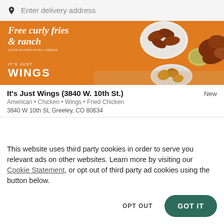Enter delivery address
[Figure (photo): Orange promotional banner for It's Just Wings restaurant showing text 'Free curly fries & ranch with every wing order' and food photos of chicken wings and dipping sauces]
It's Just Wings (3840 W. 10th St.)
American • Chicken • Wings • Fried Chicken
3840 W 10th St, Greeley, CO 80634
This website uses third party cookies in order to serve you relevant ads on other websites. Learn more by visiting our Cookie Statement, or opt out of third party ad cookies using the button below.